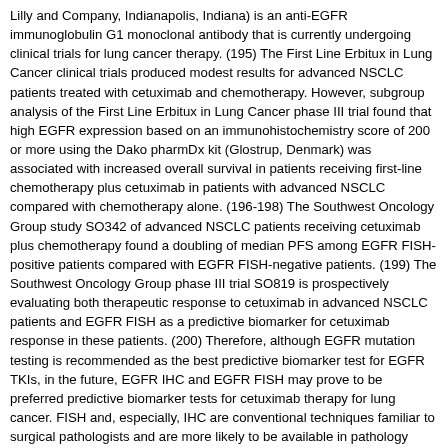Lilly and Company, Indianapolis, Indiana) is an anti-EGFR immunoglobulin G1 monoclonal antibody that is currently undergoing clinical trials for lung cancer therapy. (195) The First Line Erbitux in Lung Cancer clinical trials produced modest results for advanced NSCLC patients treated with cetuximab and chemotherapy. However, subgroup analysis of the First Line Erbitux in Lung Cancer phase III trial found that high EGFR expression based on an immunohistochemistry score of 200 or more using the Dako pharmDx kit (Glostrup, Denmark) was associated with increased overall survival in patients receiving first-line chemotherapy plus cetuximab in patients with advanced NSCLC compared with chemotherapy alone. (196-198) The Southwest Oncology Group study SO342 of advanced NSCLC patients receiving cetuximab plus chemotherapy found a doubling of median PFS among EGFR FISH-positive patients compared with EGFR FISH-negative patients. (199) The Southwest Oncology Group phase III trial SO819 is prospectively evaluating both therapeutic response to cetuximab in advanced NSCLC patients and EGFR FISH as a predictive biomarker for cetuximab response in these patients. (200) Therefore, although EGFR mutation testing is recommended as the best predictive biomarker test for EGFR TKIs, in the future, EGFR IHC and EGFR FISH may prove to be preferred predictive biomarker tests for cetuximab therapy for lung cancer. FISH and, especially, IHC are conventional techniques familiar to surgical pathologists and are more likely to be available in pathology laboratories that lack their own molecular diagnostics laboratory.
Genotype-Based Therapy Under Investigation
The search for driver mutations that can serve as targets for currently available or investigational new drugs has identified a number of candidate targets. Most kinase inhibitors can inhibit multiple kinase targets, and the use of agents that can simultaneously inhibit several targets is one